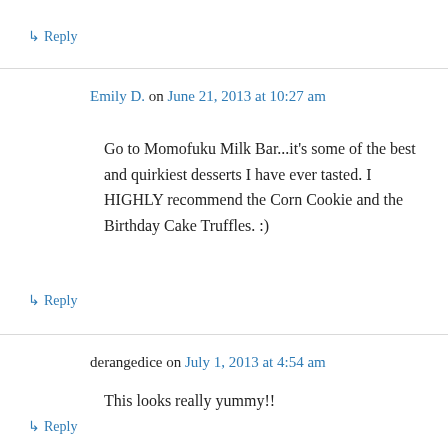↳ Reply
Emily D. on June 21, 2013 at 10:27 am
Go to Momofuku Milk Bar...it's some of the best and quirkiest desserts I have ever tasted. I HIGHLY recommend the Corn Cookie and the Birthday Cake Truffles. :)
↳ Reply
derangedice on July 1, 2013 at 4:54 am
This looks really yummy!!
↳ Reply